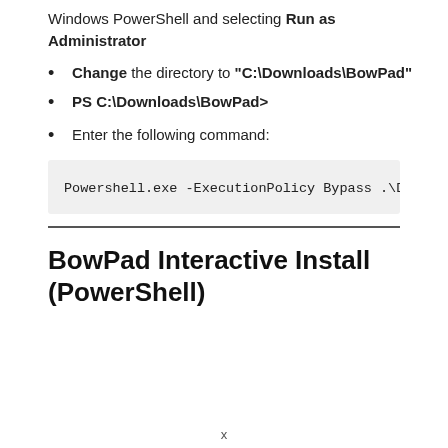Windows PowerShell and selecting Run as Administrator
Change the directory to “C:\Downloads\BowPad”
PS C:\Downloads\BowPad>
Enter the following command:
Powershell.exe -ExecutionPolicy Bypass .\De
BowPad Interactive Install (PowerShell)